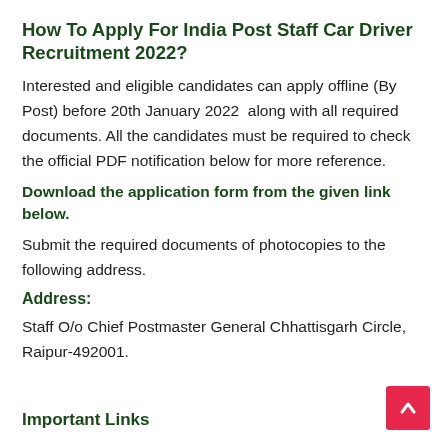How To Apply For India Post Staff Car Driver Recruitment 2022?
Interested and eligible candidates can apply offline (By Post) before 20th January 2022  along with all required documents. All the candidates must be required to check the official PDF notification below for more reference.
Download the application form from the given link below.
Submit the required documents of photocopies to the following address.
Address:
Staff O/o Chief Postmaster General Chhattisgarh Circle, Raipur-492001.
Important Links